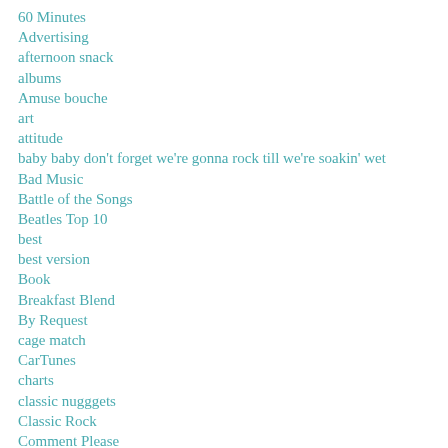60 Minutes
Advertising
afternoon snack
albums
Amuse bouche
art
attitude
baby baby don't forget we're gonna rock till we're soakin' wet
Bad Music
Battle of the Songs
Beatles Top 10
best
best version
Book
Breakfast Blend
By Request
cage match
CarTunes
charts
classic nugggets
Classic Rock
Comment Please